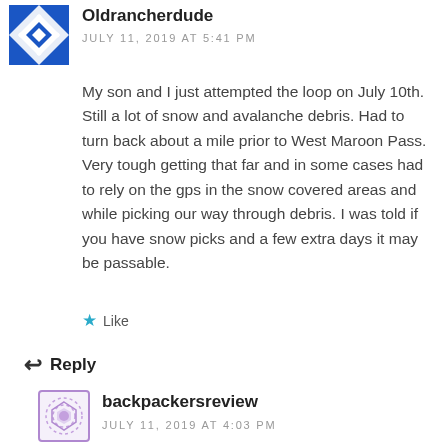[Figure (illustration): User avatar for Oldrancherdude — blue and white geometric snowflake/quilt pattern icon]
Oldrancherdude
JULY 11, 2019 AT 5:41 PM
My son and I just attempted the loop on July 10th. Still a lot of snow and avalanche debris. Had to turn back about a mile prior to West Maroon Pass. Very tough getting that far and in some cases had to rely on the gps in the snow covered areas and while picking our way through debris. I was told if you have snow picks and a few extra days it may be passable.
★ Like
↩ Reply
[Figure (illustration): User avatar for backpackersreview — purple circular geometric pattern icon with border]
backpackersreview
JULY 11, 2019 AT 4:03 PM